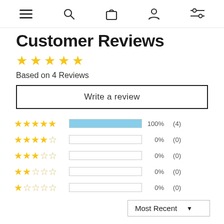navigation icons: menu, search, bag, account, filters
Customer Reviews
[Figure (other): 5 filled gold stars rating display]
Based on 4 Reviews
Write a review
[Figure (bar-chart): Rating distribution]
Most Recent ▼